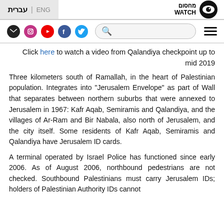עברית | ENG — Machsom Watch logo
Click here to watch a video from Qalandiya checkpoint up to mid 2019
Three kilometers south of Ramallah, in the heart of Palestinian population. Integrates into "Jerusalem Envelope" as part of Wall that separates between northern suburbs that were annexed to Jerusalem in 1967: Kafr Aqab, Semiramis and Qalandiya, and the villages of Ar-Ram and Bir Nabala, also north of Jerusalem, and the city itself. Some residents of Kafr Aqab, Semiramis and Qalandiya have Jerusalem ID cards.
A terminal operated by Israel Police has functioned since early 2006. As of August 2006, northbound pedestrians are not checked. Southbound Palestinians must carry Jerusalem IDs; holders of Palestinian Authority IDs cannot